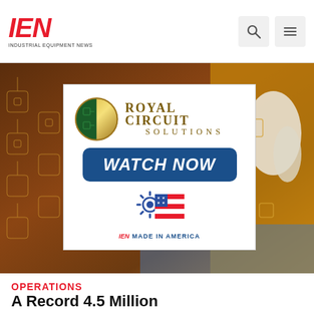IEN - Industrial Equipment News
[Figure (photo): Background photo of printed circuit boards with brown flexible PCBs and a gloved hand handling electronics; overlaid with Royal Circuit Solutions advertisement showing their logo, a WATCH NOW button, and IEN Made in America badge.]
OPERATIONS
A Record 4.5 Million